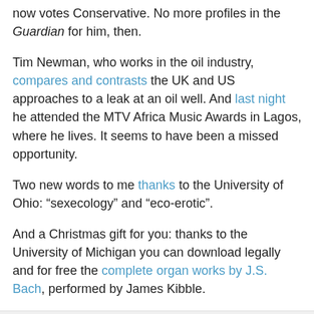now votes Conservative. No more profiles in the Guardian for him, then.
Tim Newman, who works in the oil industry, compares and contrasts the UK and US approaches to a leak at an oil well. And last night he attended the MTV Africa Music Awards in Lagos, where he lives. It seems to have been a missed opportunity.
Two new words to me thanks to the University of Ohio: “sexecology” and “eco-erotic”.
And a Christmas gift for you: thanks to the University of Michigan you can download legally and for free the complete organ works by J.S. Bach, performed by James Kibble.
Stephen Stratford at 5:53 PM
Share
7 comments: